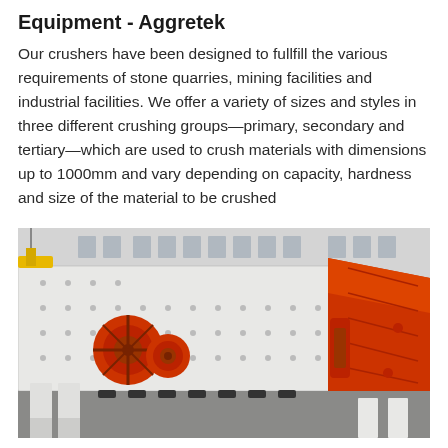Equipment - Aggretek
Our crushers have been designed to fullfill the various requirements of stone quarries, mining facilities and industrial facilities. We offer a variety of sizes and styles in three different crushing groups—primary, secondary and tertiary—which are used to crush materials with dimensions up to 1000mm and vary depending on capacity, hardness and size of the material to be crushed
[Figure (photo): Industrial crusher equipment photographed in a factory setting. Shows large white and orange heavy machinery — a jaw crusher — with orange mechanical components including motor/flywheel assembly on the left and a large orange jaw plate assembly on the right. White support pillars visible at the bottom. Industrial building with windows in the background.]